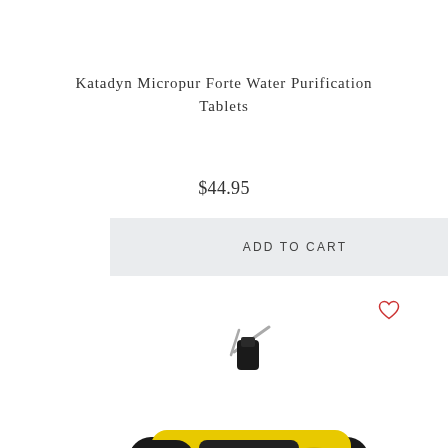Katadyn Micropur Forte Water Purification Tablets
$44.95
ADD TO CART
[Figure (photo): Yellow and black hand-crank emergency weather radio with antenna, flashlight, speaker grille, and wrist strap lanyard]